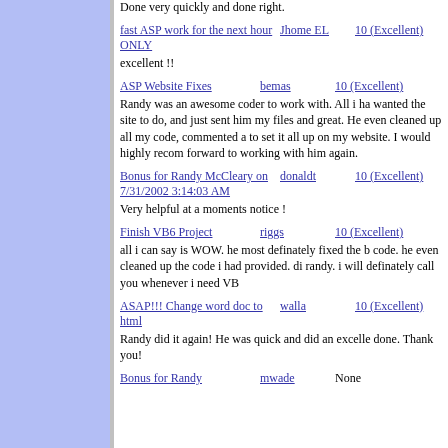Done very quickly and done right.
fast ASP work for the next hour ONLY | Jhome EL | 10 (Excellent)
excellent !!
ASP Website Fixes | bemas | 10 (Excellent)
Randy was an awesome coder to work with. All i ha wanted the site to do, and just sent him my files and great. He even cleaned up all my code, commented a to set it all up on my website. I would highly recom forward to working with him again.
Bonus for Randy McCleary on 7/31/2002 3:14:03 AM | donaldt | 10 (Excellent)
Very helpful at a moments notice !
Finish VB6 Project | riggs | 10 (Excellent)
all i can say is WOW. he most definately fixed the b code. he even cleaned up the code i had provided. di randy. i will definately call you whenever i need VB
ASAP!!! Change word doc to html | walla | 10 (Excellent)
Randy did it again! He was quick and did an excelle done. Thank you!
Bonus for Randy | mwade | None